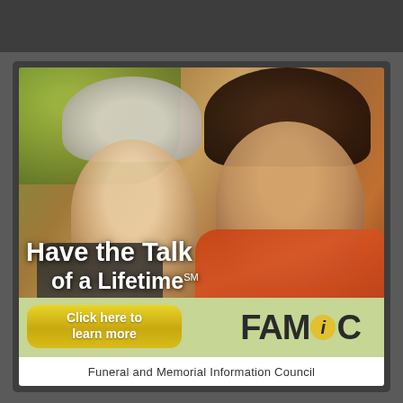[Figure (illustration): Advertisement for FAMIC (Funeral and Memorial Information Council). Shows two smiling women (an elderly woman with white hair and a younger woman with dark hair wearing an orange jacket) posing together outdoors. Overlaid text reads 'Have the Talk of a Lifetime SM'. Below the photo is a light green band with a yellow 'Click here to learn more' button on the left and the FAMiC logo on the right. At the bottom is a white band with the text 'Funeral and Memorial Information Council'.]
Have the Talk of a Lifetime℠
Click here to learn more
FAMiC
Funeral and Memorial Information Council